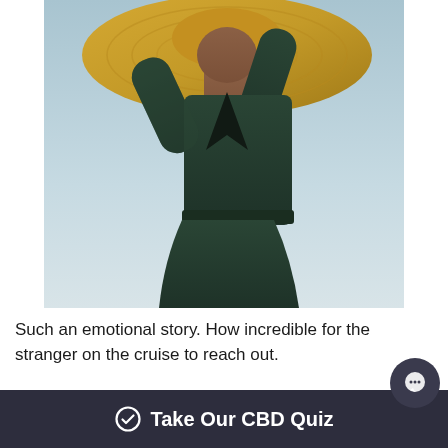[Figure (photo): Woman in a dark green deep-V dress wearing a large straw/woven sun hat, photographed outdoors against a light sky background]
Such an emotional story. How incredible for the stranger on the cruise to reach out.
Before we dive deeper into how to protect yourself, let’s look at some facts for skin cancer awareness month.
Take Our CBD Quiz